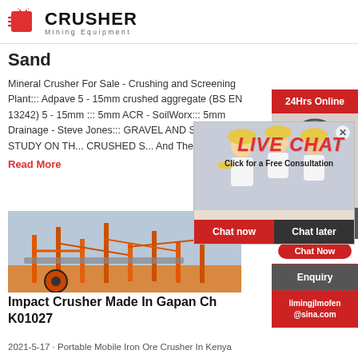[Figure (logo): Crusher Mining Equipment logo with red shopping bag icon and bold CRUSHER text]
Sand
Mineral Crusher For Sale - Crushing and Screening Plant::: Adpave 5 - 15mm crushed aggregate (BS EN 13242) 5 - 15mm ::: 5mm ACR - SoilWorx::: 5mm Drainage - Steve Jones::: GRAVEL AND SALES::: A STUDY ON THE CRUSHED S... And The Dif...
Read More
[Figure (photo): Industrial crusher/screening equipment photo]
[Figure (infographic): Live Chat popup overlay with workers in hard hats, LIVE CHAT title, Click for a Free Consultation, Chat now and Chat later buttons]
[Figure (infographic): Right sidebar with 24Hrs Online, customer service agent photo, Need questions & suggestion, Chat Now button, Enquiry, limingjlmofen@sina.com]
Impact Crusher Made In Gapan Ch K01027
2021-5-17 · Portable Mobile Iron Ore Crusher In Kenya